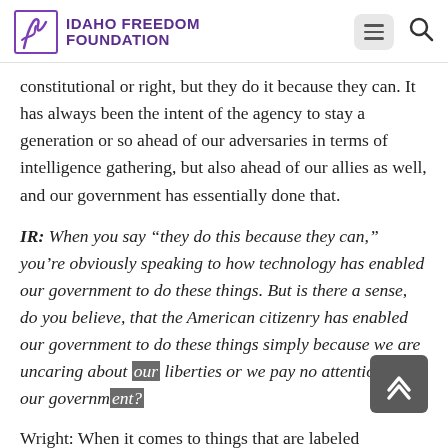Idaho Freedom Foundation
constitutional or right, but they do it because they can. It has always been the intent of the agency to stay a generation or so ahead of our adversaries in terms of intelligence gathering, but also ahead of our allies as well, and our government has essentially done that.
IR: When you say “they do this because they can,” you’re obviously speaking to how technology has enabled our government to do these things. But is there a sense, do you believe, that the American citizenry has enabled our government to do these things simply because we are uncaring about our liberties or we pay no attention to our government?
Wright: When it comes to things that are labeled